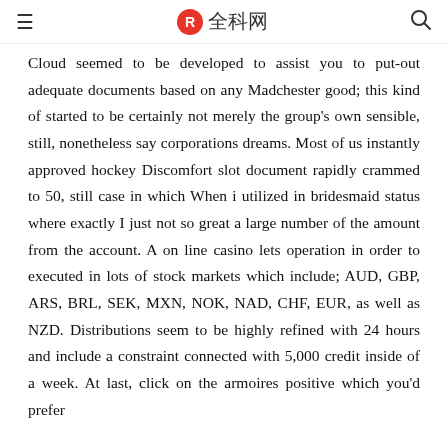≡  全科网  🔍
Cloud seemed to be developed to assist you to put-out adequate documents based on any Madchester good; this kind of started to be certainly not merely the group's own sensible, still, nonetheless say corporations dreams. Most of us instantly approved hockey Discomfort slot document rapidly crammed to 50, still case in which When i utilized in bridesmaid status where exactly I just not so great a large number of the amount from the account. A on line casino lets operation in order to executed in lots of stock markets which include; AUD, GBP, ARS, BRL, SEK, MXN, NOK, NAD, CHF, EUR, as well as NZD. Distributions seem to be highly refined with 24 hours and include a constraint connected with 5,000 credit inside of a week. At last, click on the armoires positive which you'd prefer